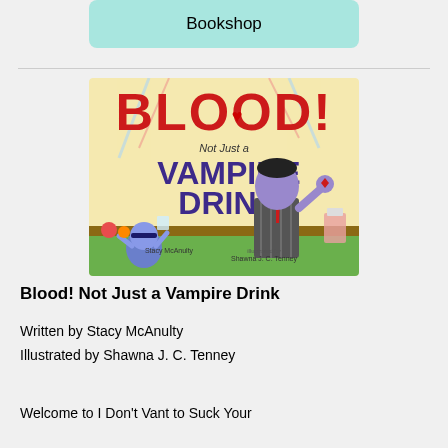Bookshop
[Figure (illustration): Book cover of 'Blood! Not Just a Vampire Drink' by Stacy McAnulty, illustrated by Shawna J. C. Tenney. Features cartoon vampires and bold red and purple lettering.]
Blood! Not Just a Vampire Drink
Written by Stacy McAnulty
Illustrated by Shawna J. C. Tenney
Welcome to I Don't Vant to Suck Your